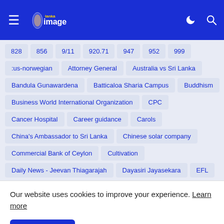Lanka Image — navigation header with hamburger menu, logo, moon icon, search icon
828
856
9/11
920.71
947
952
999
:us-norwegian
Attorney General
Australia vs Sri Lanka
Bandula Gunawardena
Batticaloa Sharia Campus
Buddhism
Business World International Organization
CPC
Cancer Hospital
Career guidance
Carols
China's Ambassador to Sri Lanka
Chinese solar company
Commercial Bank of Ceylon
Cultivation
Daily News - Jeevan Thiagarajah
Dayasiri Jayasekara
EFL
Our website uses cookies to improve your experience. Learn more
Accept !